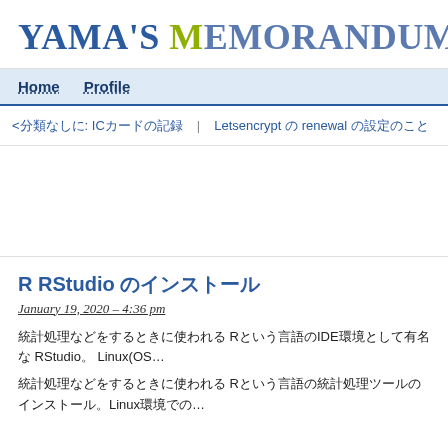Yama's Memorandum
Home   Profile
<前の記事へ: ICカードの記録 | Letsencrypt の renewal の設定
R RStudio のインストール
January 19, 2020 – 4:36 pm
統計処理などをするときに使われる Rという言語のIDE環境として有名な RStudio。Linux(OS...
統計処理などをするときに使われる Rという言語の統計処理ツールのインストール。Linux環境での...